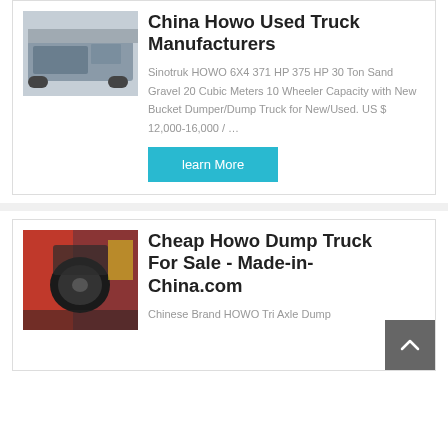[Figure (photo): Photo of a Howo dump truck exterior]
China Howo Used Truck Manufacturers
Sinotruk HOWO 6X4 371 HP 375 HP 30 Ton Sand Gravel 20 Cubic Meters 10 Wheeler Capacity with New Bucket Dumper/Dump Truck for New/Used. US $ 12,000-16,000 / …
learn More
[Figure (photo): Photo of a truck interior/cab dashboard]
Cheap Howo Dump Truck For Sale - Made-in-China.com
Chinese Brand HOWO Tri Axle Dump